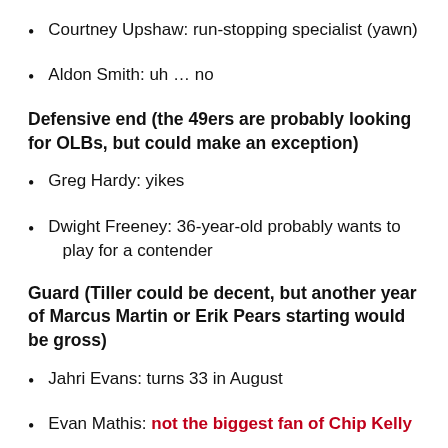Courtney Upshaw: run-stopping specialist (yawn)
Aldon Smith: uh … no
Defensive end (the 49ers are probably looking for OLBs, but could make an exception)
Greg Hardy: yikes
Dwight Freeney: 36-year-old probably wants to play for a contender
Guard (Tiller could be decent, but another year of Marcus Martin or Erik Pears starting would be gross)
Jahri Evans: turns 33 in August
Evan Mathis: not the biggest fan of Chip Kelly